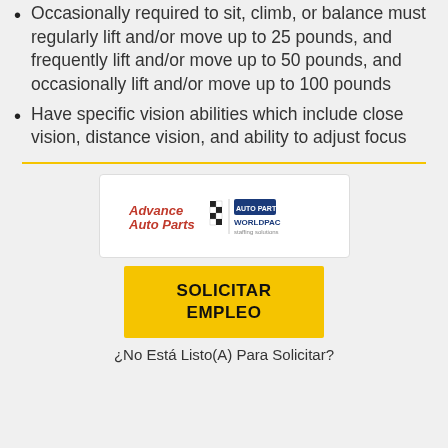Occasionally required to sit, climb, or balance must regularly lift and/or move up to 25 pounds, and frequently lift and/or move up to 50 pounds, and occasionally lift and/or move up to 100 pounds
Have specific vision abilities which include close vision, distance vision, and ability to adjust focus
[Figure (logo): Advance Auto Parts logo combined with subsidiary brand logos (BWP Auto Parts, Worldpac)]
SOLICITAR EMPLEO
¿No Está Listo(A) Para Solicitar?